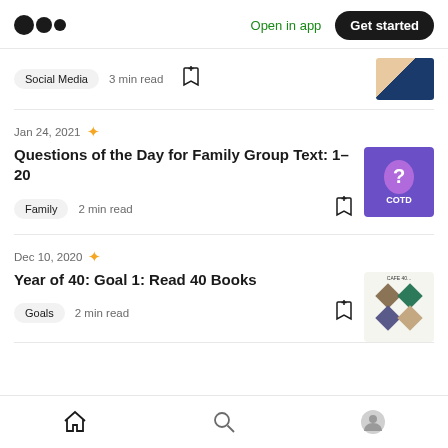Medium logo | Open in app | Get started
Social Media  3 min read
Jan 24, 2021
Questions of the Day for Family Group Text: 1–20
Family  2 min read
Dec 10, 2020
Year of 40: Goal 1: Read 40 Books
Goals  2 min read
Home | Search | Profile